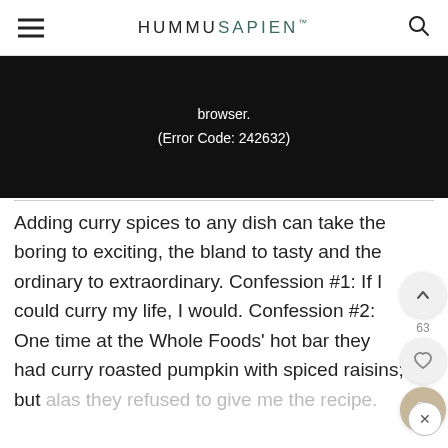HUMMUSAPIEN™
[Figure (screenshot): Black video player area showing error text: 'browser. (Error Code: 242632)']
Adding curry spices to any dish can take the boring to exciting, the bland to tasty and the ordinary to extraordinary. Confession #1: If I could curry my life, I would. Confession #2: One time at the Whole Foods' hot bar they had curry roasted pumpkin with spiced raisins; but alas they refused to give me the recipe.